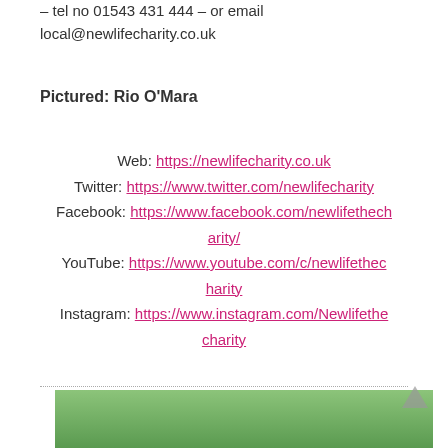– tel no 01543 431 444 – or email local@newlifecharity.co.uk
Pictured: Rio O'Mara
Web: https://newlifecharity.co.uk
Twitter: https://www.twitter.com/newlifecharity
Facebook: https://www.facebook.com/newlifethecharity/
YouTube: https://www.youtube.com/c/newlifethecharity
Instagram: https://www.instagram.com/Newlifethecharity
[Figure (photo): Partial view of a person on a mobility aid or bicycle on a path with green grass in the background]